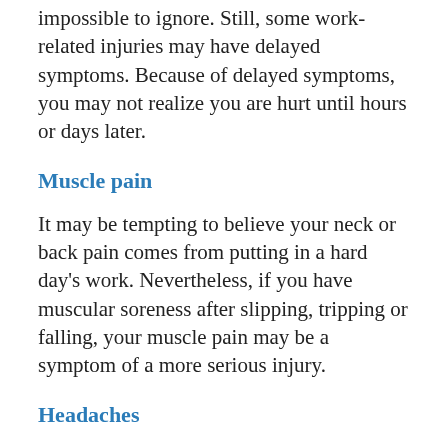impossible to ignore. Still, some work-related injuries may have delayed symptoms. Because of delayed symptoms, you may not realize you are hurt until hours or days later.
Muscle pain
It may be tempting to believe your neck or back pain comes from putting in a hard day's work. Nevertheless, if you have muscular soreness after slipping, tripping or falling, your muscle pain may be a symptom of a more serious injury.
Headaches
Stress, loud noises and other occupational factors may give you a headache. While some